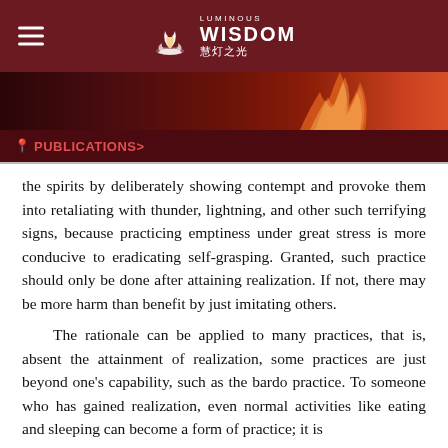LUMINOUS WISDOM 慧灯之光
[Figure (photo): Dark banner with candle flame image]
PUBLICATIONS>
the spirits by deliberately showing contempt and provoke them into retaliating with thunder, lightning, and other such terrifying signs, because practicing emptiness under great stress is more conducive to eradicating self-grasping. Granted, such practice should only be done after attaining realization. If not, there may be more harm than benefit by just imitating others.
The rationale can be applied to many practices, that is, absent the attainment of realization, some practices are just beyond one's capability, such as the bardo practice. To someone who has gained realization, even normal activities like eating and sleeping can become a form of practice; it is